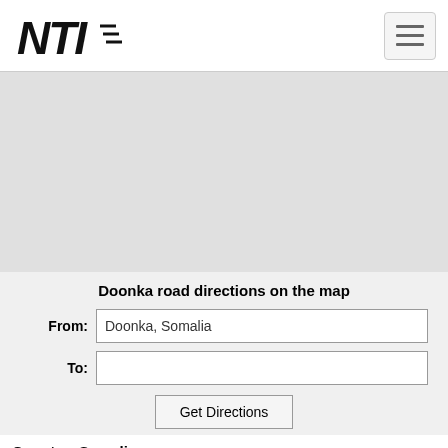NTI logo and navigation menu
[Figure (map): Large map area showing road directions, light gray background representing a map view]
Doonka road directions on the map
From: Doonka, Somalia
To:
Get Directions
Country: Somalia